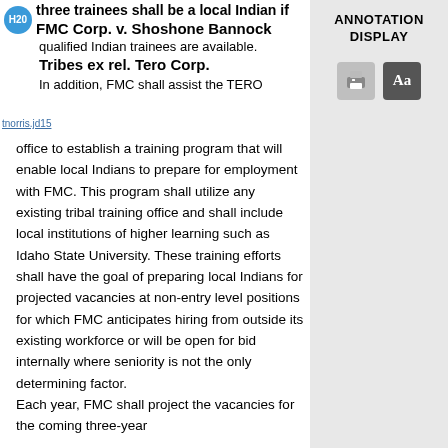FMC Corp. v. Shoshone Bannock Tribes ex rel. Tero Corp.
three trainees shall be a local Indian if qualified Indian trainees are available. In addition, FMC shall assist the TERO office to establish a training program that will enable local Indians to prepare for employment with FMC. This program shall utilize any existing tribal training office and shall include local institutions of higher learning such as Idaho State University. These training efforts shall have the goal of preparing local Indians for projected vacancies at non-entry level positions for which FMC anticipates hiring from outside its existing workforce or will be open for bid internally where seniority is not the only determining factor. Each year, FMC shall project the vacancies for the coming three-year
ANNOTATION DISPLAY